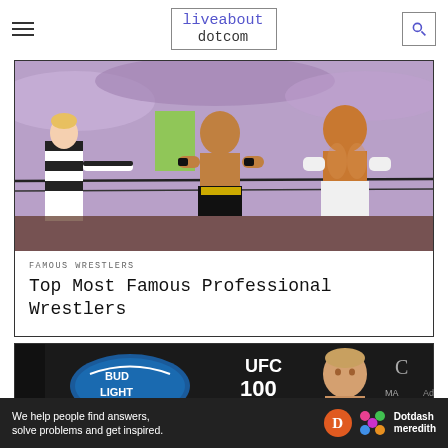liveabout dotcom
[Figure (photo): Two professional wrestlers in a wrestling ring with a referee, crowd in background]
FAMOUS WRESTLERS
Top Most Famous Professional Wrestlers
[Figure (photo): UFC 100 event photo with Bud Light signage, showing a wrestler/fighter]
Ad
We help people find answers, solve problems and get inspired. Dotdash meredith